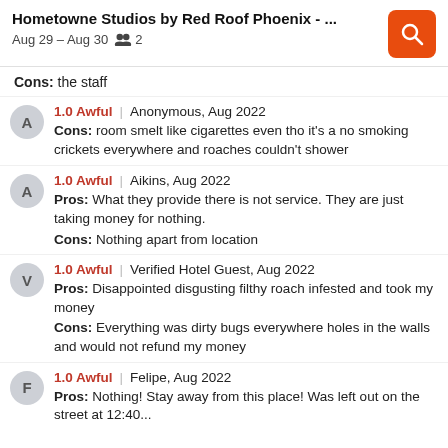Hometowne Studios by Red Roof Phoenix - ...
Aug 29 – Aug 30  👥 2
Cons: the staff
1.0 Awful | Anonymous, Aug 2022
Cons: room smelt like cigarettes even tho it's a no smoking crickets everywhere and roaches couldn't shower
1.0 Awful | Aikins, Aug 2022
Pros: What they provide there is not service. They are just taking money for nothing.
Cons: Nothing apart from location
1.0 Awful | Verified Hotel Guest, Aug 2022
Pros: Disappointed disgusting filthy roach infested and took my money
Cons: Everything was dirty bugs everywhere holes in the walls and would not refund my money
1.0 Awful | Felipe, Aug 2022
Pros: Nothing! Stay away from this place! Was left out on the street at 12:40...